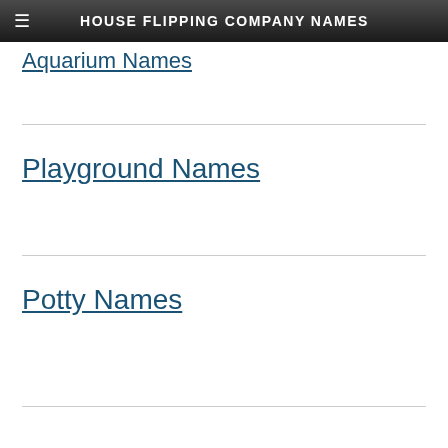HOUSE FLIPPING COMPANY NAMES
Aquarium Names
Playground Names
Potty Names